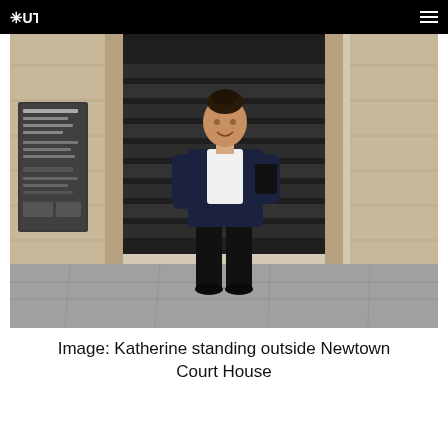UTS
[Figure (photo): A woman (Katherine) standing outside Newtown Court House. She is wearing a navy blazer, white blouse, and black wide-leg trousers, holding a black folder. Behind her is a stone archway with stairs leading up. A sign board is visible on the left wall.]
Image: Katherine standing outside Newtown Court House